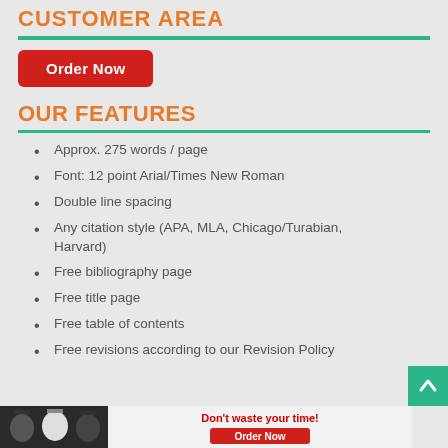CUSTOMER AREA
OUR FEATURES
Approx. 275 words / page
Font: 12 point Arial/Times New Roman
Double line spacing
Any citation style (APA, MLA, Chicago/Turabian, Harvard)
Free bibliography page
Free title page
Free table of contents
Free revisions according to our Revision Policy
[Figure (photo): Advertisement banner with graduates and Order Now button]